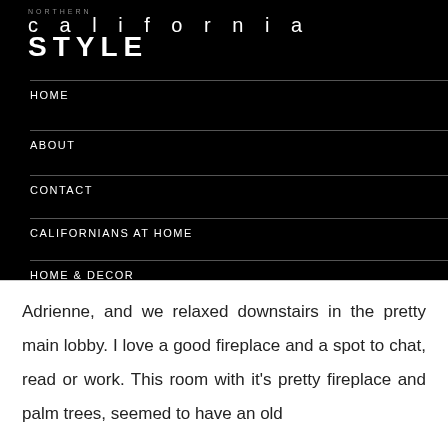NORTHERN california STYLE
HOME
ABOUT
CONTACT
CALIFORNIANS AT HOME
HOME & DECOR
MY CALIFORNIA CLOSET
Adrienne, and we relaxed downstairs in the pretty main lobby. I love a good fireplace and a spot to chat, read or work. This room with it's pretty fireplace and palm trees, seemed to have an old